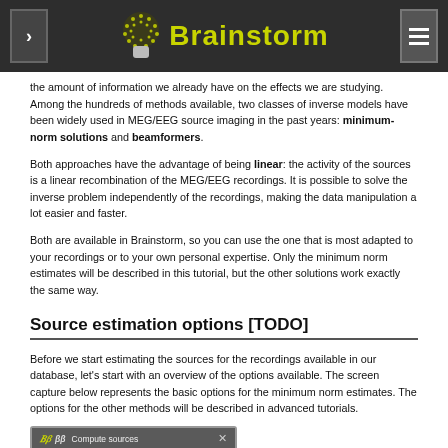Brainstorm
the amount of information we already have on the effects we are studying. Among the hundreds of methods available, two classes of inverse models have been widely used in MEG/EEG source imaging in the past years: minimum-norm solutions and beamformers.
Both approaches have the advantage of being linear: the activity of the sources is a linear recombination of the MEG/EEG recordings. It is possible to solve the inverse problem independently of the recordings, making the data manipulation a lot easier and faster.
Both are available in Brainstorm, so you can use the one that is most adapted to your recordings or to your own personal expertise. Only the minimum norm estimates will be described in this tutorial, but the other solutions work exactly the same way.
Source estimation options [TODO]
Before we start estimating the sources for the recordings available in our database, let's start with an overview of the options available. The screen capture below represents the basic options for the minimum norm estimates. The options for the other methods will be described in advanced tutorials.
[Figure (screenshot): Compute sources dialog box screenshot showing title bar with Brainstorm icon and close button]